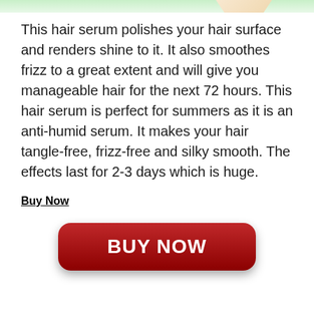[Figure (illustration): Top portion of a product image showing hair serum bottle with decorative green and pinkish-tan background elements]
This hair serum polishes your hair surface and renders shine to it. It also smoothes frizz to a great extent and will give you manageable hair for the next 72 hours. This hair serum is perfect for summers as it is an anti-humid serum. It makes your hair tangle-free, frizz-free and silky smooth. The effects last for 2-3 days which is huge.
Buy Now
[Figure (other): Dark red rounded rectangle button with white bold text reading BUY NOW]